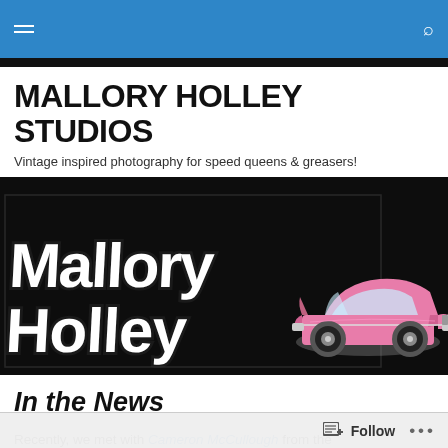Mallory Holley Studios — navigation header with hamburger menu and search icon
MALLORY HOLLEY STUDIOS
Vintage inspired photography for speed queens & greasers!
[Figure (logo): Mallory Holley Studios logo banner: black background with ornate gothic lettering 'Mallory Holley' in white with dark outline, and a pink lowrider/vintage Cadillac car illustration on the right side]
In the News
Recently, we met with Cameron McCullough from the
Follow